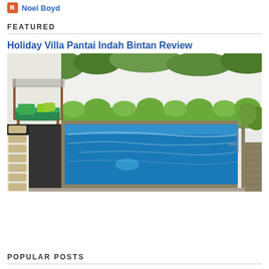Noel Boyd
FEATURED
Holiday Villa Pantai Indah Bintan Review
[Figure (photo): Outdoor private pool at Holiday Villa Pantai Indah Bintan. The pool is a rectangular blue swimming pool with metal handrails on the right side. To the left is a wooden daybed/gazebo with green cushions. Stone stepping path runs along the left side. Green hedges line the back wall.]
POPULAR POSTS